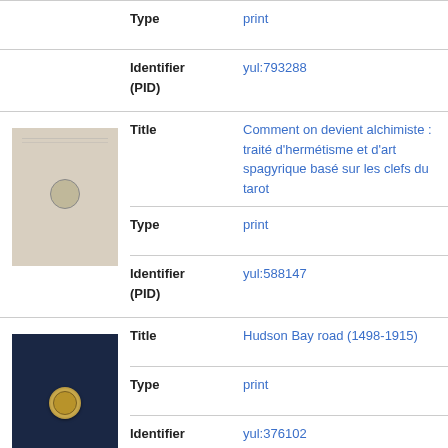| Field | Value |
| --- | --- |
| Type | print |
| Identifier (PID) | yul:793288 |
[Figure (photo): Beige/tan book cover thumbnail with circular emblem]
| Field | Value |
| --- | --- |
| Title | Comment on devient alchimiste : traité d'hermétisme et d'art spagyrique basé sur les clefs du tarot |
| Type | print |
| Identifier (PID) | yul:588147 |
[Figure (photo): Dark navy blue book cover thumbnail with gold emblem]
| Field | Value |
| --- | --- |
| Title | Hudson Bay road (1498-1915) |
| Type | print |
| Identifier (PID) | yul:376102 |